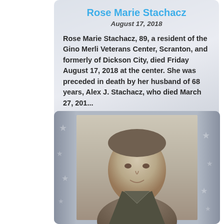Rose Marie Stachacz
August 17, 2018
Rose Marie Stachacz, 89, a resident of the Gino Merli Veterans Center, Scranton, and formerly of Dickson City, died Friday August 17, 2018 at the center.  She was preceded in death by her husband of 68 years, Alex J. Stachacz, who died March 27, 201...
View
[Figure (photo): Black and white sepia-toned portrait photograph of a man, shown from shoulders up, with a slight smile, set against a background with a faint American flag stars pattern on the sides.]